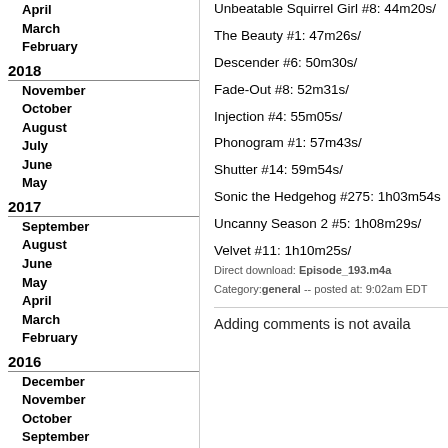April
March
February
2018
November
October
August
July
June
May
2017
September
August
June
May
April
March
February
2016
December
November
October
September
August
July
June
May
April
March
February
Unbeatable Squirrel Girl #8: 44m20s/
The Beauty #1: 47m26s/
Descender #6: 50m30s/
Fade-Out #8: 52m31s/
Injection #4: 55m05s/
Phonogram #1: 57m43s/
Shutter #14: 59m54s/
Sonic the Hedgehog #275: 1h03m54s
Uncanny Season 2 #5: 1h08m29s/
Velvet #11: 1h10m25s/
Direct download: Episode_193.m4a
Category:general -- posted at: 9:02am EDT
Adding comments is not availa